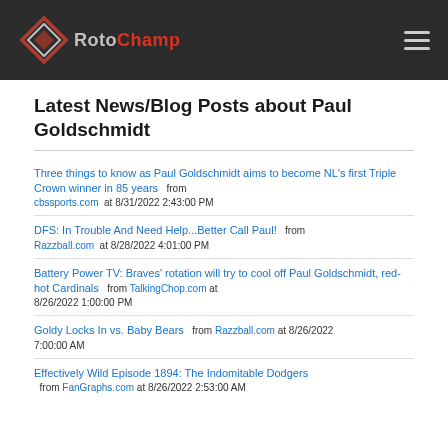[Figure (logo): RotoChamp logo with diamond icon and hamburger menu on dark header bar]
Latest News/Blog Posts about Paul Goldschmidt
Three things to know as Paul Goldschmidt aims to become NL's first Triple Crown winner in 85 years from cbssports.com at 8/31/2022 2:43:00 PM
DFS: In Trouble And Need Help...Better Call Paul! from Razzball.com at 8/28/2022 4:01:00 PM
Battery Power TV: Braves' rotation will try to cool off Paul Goldschmidt, red-hot Cardinals from TalkingChop.com at 8/26/2022 1:00:00 PM
Goldy Locks In vs. Baby Bears from Razzball.com at 8/26/2022 7:00:00 AM
Effectively Wild Episode 1894: The Indomitable Dodgers from FanGraphs.com at 8/26/2022 2:53:00 AM